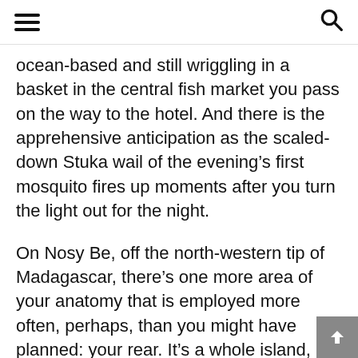[hamburger menu] [search icon]
ocean-based and still wriggling in a basket in the central fish market you pass on the way to the hotel. And there is the apprehensive anticipation as the scaled-down Stuka wail of the evening's first mosquito fires up moments after you turn the light out for the night.
On Nosy Be, off the north-western tip of Madagascar, there's one more area of your anatomy that is employed more often, perhaps, than you might have planned: your rear. It's a whole island, it seems, on which cushions are anathema.